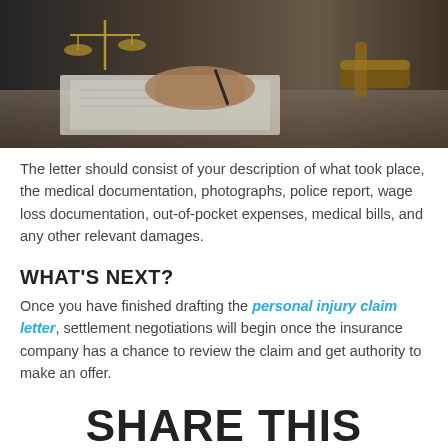[Figure (photo): A person writing on papers at a desk with a judge's gavel and scales of justice in the background, suggesting a legal setting.]
The letter should consist of your description of what took place, the medical documentation, photographs, police report, wage loss documentation, out-of-pocket expenses, medical bills, and any other relevant damages.
WHAT'S NEXT?
Once you have finished drafting the personal injury claim letter, settlement negotiations will begin once the insurance company has a chance to review the claim and get authority to make an offer.
SHARE THIS